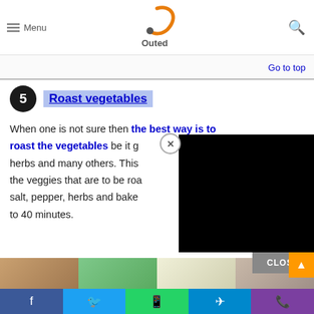Menu | Outed logo | Search
Go to top
5 Roast vegetables
When one is not sure then the best way is to roast the vegetables be it g... herbs and many others. This ... the veggies that are to be roa... salt, pepper, herbs and bake ... to 40 minutes.
[Figure (screenshot): Black video overlay with close button and CLOSE bar]
Facebook | Twitter | WhatsApp | Telegram | Phone social sharing buttons